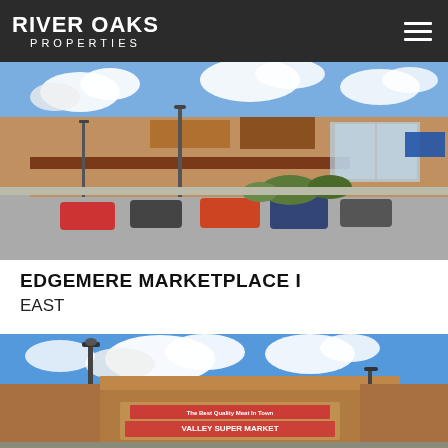River Oaks Properties
[Figure (photo): Exterior photo of Edgemere Marketplace I shopping center showing retail storefronts with parked cars in front, taken on a sunny day with blue sky and white clouds]
EDGEMERE MARKETPLACE I
EAST
[Figure (photo): Exterior photo of Valley Super Market with signage reading 'The Best Quality Meat In Town' and 'VALLEY SUPER MARKET', with a street light and blue sky with clouds in the background]